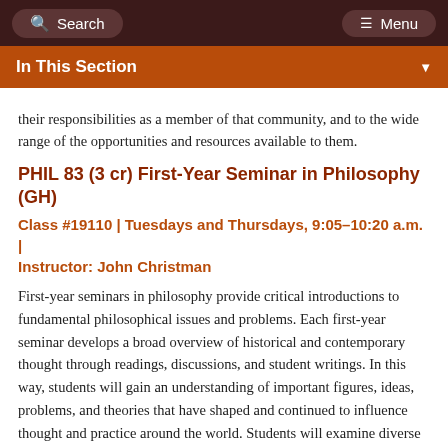Search   Menu
In This Section
their responsibilities as a member of that community, and to the wide range of the opportunities and resources available to them.
PHIL 83 (3 cr) First-Year Seminar in Philosophy (GH)
Class #19110 | Tuesdays and Thursdays, 9:05–10:20 a.m. | Instructor: John Christman
First-year seminars in philosophy provide critical introductions to fundamental philosophical issues and problems. Each first-year seminar develops a broad overview of historical and contemporary thought through readings, discussions, and student writings. In this way, students will gain an understanding of important figures, ideas, problems, and theories that have shaped and continued to influence thought and practice around the world. Students will examine diverse viewpoints that will allow them to understand a wide range of views and challenge them to defend their own positions. First-year seminars involve active use of writing, speaking, and group projects. They provide